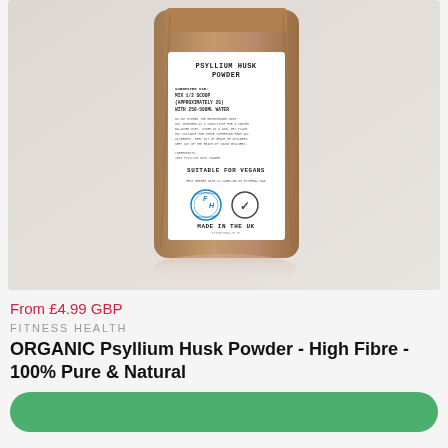[Figure (photo): Brown kraft paper pouch bag of Psyllium Husk Powder by Fitness Health, with white label showing product details, suitable for vegans logo, and Made in the UK text. Product shown on light grey background with subtle reflection.]
From £4.99 GBP
FITNESS HEALTH
ORGANIC Psyllium Husk Powder - High Fibre - 100% Pure & Natural